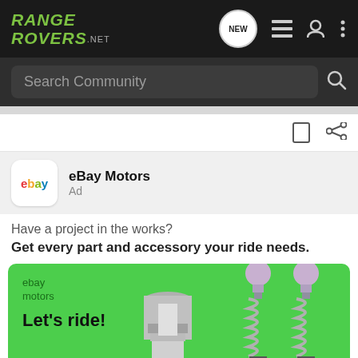[Figure (screenshot): RangeRovers.net website header with logo, navigation icons, and search bar]
eBay Motors
Ad
Have a project in the works?
Get every part and accessory your ride needs.
[Figure (illustration): eBay Motors advertisement banner on green background showing car parts (shock absorbers and engine component) with text 'ebay motors' and 'Let's ride!']